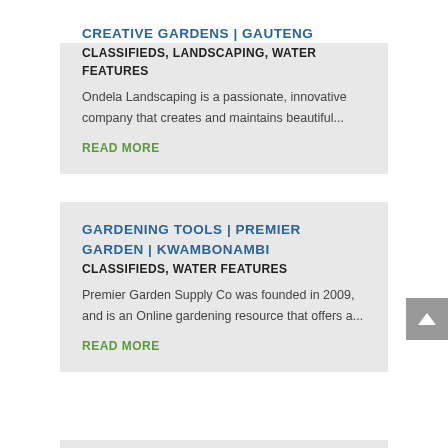CREATIVE GARDENS | GAUTENG
CLASSIFIEDS, LANDSCAPING, WATER FEATURES
Ondela Landscaping is a passionate, innovative company that creates and maintains beautiful...
READ MORE
GARDENING TOOLS | PREMIER GARDEN | KWAMBONAMBI
CLASSIFIEDS, WATER FEATURES
Premier Garden Supply Co was founded in 2009, and is an Online gardening resource that offers a...
READ MORE